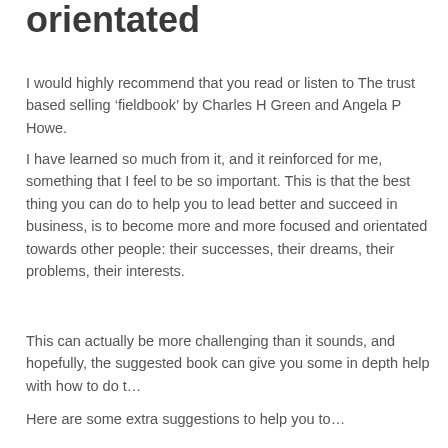orientated
I would highly recommend that you read or listen to The trust based selling ‘fieldbook’ by Charles H Green and Angela P Howe.
I have learned so much from it, and it reinforced for me, something that I feel to be so important. This is that the best thing you can do to help you to lead better and succeed in business, is to become more and more focused and orientated towards other people: their successes, their dreams, their problems, their interests.
This can actually be more challenging than it sounds, and hopefully, the suggested book can give you some in depth help with how to do t…
Here are some extra suggestions to help you to…